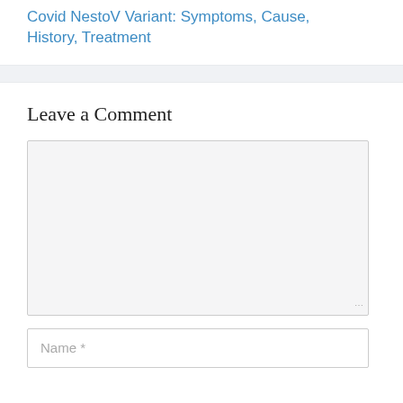Covid NestoV Variant: Symptoms, Cause, History, Treatment
Leave a Comment